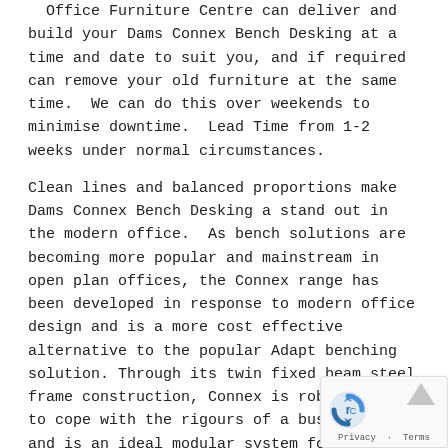Office Furniture Centre can deliver and build your Dams Connex Bench Desking at a time and date to suit you, and if required can remove your old furniture at the same time. We can do this over weekends to minimise downtime. Lead Time from 1-2 weeks under normal circumstances.
Clean lines and balanced proportions make Dams Connex Bench Desking a stand out in the modern office. As bench solutions are becoming more popular and mainstream in open plan offices, the Connex range has been developed in response to modern office design and is a more cost effective alternative to the popular Adapt benching solution. Through its twin fixed beam steel frame construction, Connex is robust enough to cope with the rigours of a busy office and is an ideal modular system for high density office spaces.
Features
25mm desktops available in beech, grey oak, oak, walnut and white
Horizontal and vertical cable management allows cables to rise from the floor via mass cable risers and shared cable